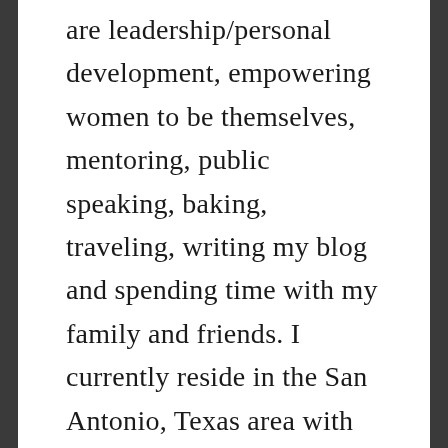are leadership/personal development, empowering women to be themselves, mentoring, public speaking, baking, traveling, writing my blog and spending time with my family and friends. I currently reside in the San Antonio, Texas area with my spouse and our two active children. My call to action for you as a reader is to embrace who you are and know that you are enough. We all can use a little improvement in some areas of our lives but don't let that stop you from loving yourself and being the best you. I also ask that you take the time to encourage and support one another. In this delicate